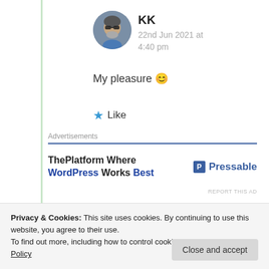[Figure (photo): Circular avatar photo of user KK showing a man with sunglasses and a beard]
KK
22nd Jun 2021 at 4:40 pm
My pleasure 😊
★ Like
Advertisements
[Figure (infographic): Advertisement banner: ThePlatform Where WordPress Works Best — Pressable]
REPORT THIS AD
Privacy & Cookies: This site uses cookies. By continuing to use this website, you agree to their use. To find out more, including how to control cookies, see here: Cookie Policy
Close and accept
Congratulations my dear Suma !!!!🌟🌟🌟🌟🌟🌟